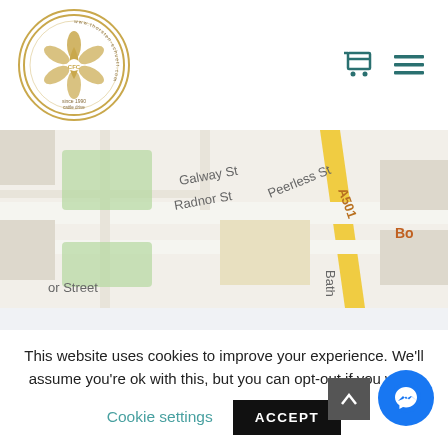[Figure (logo): Round logo with golden border, stylized tree/flame design inside, text around the circle reading 'www.thorsten-schuett.com' and 'cattle drive' and 'since 1990']
[Figure (screenshot): Google Maps screenshot showing streets: Galway St, Radnor St, Peerless St, A501, Bath Street area, with Nightjar location marker, Scape S label top right, Bo label right side]
CFC Tree & Forest Foundation
This website uses cookies to improve your experience. We'll assume you're ok with this, but you can opt-out if you wish.
Cookie settings
ACCEPT